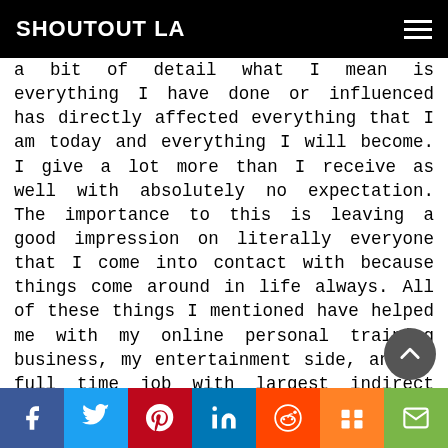SHOUTOUT LA
a bit of detail what I mean is everything I have done or influenced has directly affected everything that I am today and everything I will become. I give a lot more than I receive as well with absolutely no expectation. The importance to this is leaving a good impression on literally everyone that I come into contact with because things come around in life always. All of these things I mentioned have helped me with my online personal training business, my entertainment side, and my full time job with largest indirect cost savings company in North America.